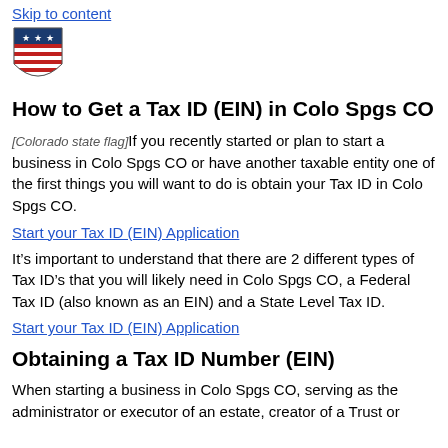Skip to content
[Figure (logo): Government shield logo with stars and red/white stripes]
How to Get a Tax ID (EIN) in Colo Spgs CO
Colorado state flag If you recently started or plan to start a business in Colo Spgs CO or have another taxable entity one of the first things you will want to do is obtain your Tax ID in Colo Spgs CO.
Start your Tax ID (EIN) Application
It’s important to understand that there are 2 different types of Tax ID’s that you will likely need in Colo Spgs CO, a Federal Tax ID (also known as an EIN) and a State Level Tax ID.
Start your Tax ID (EIN) Application
Obtaining a Tax ID Number (EIN)
When starting a business in Colo Spgs CO, serving as the administrator or executor of an estate, creator of a Trust or